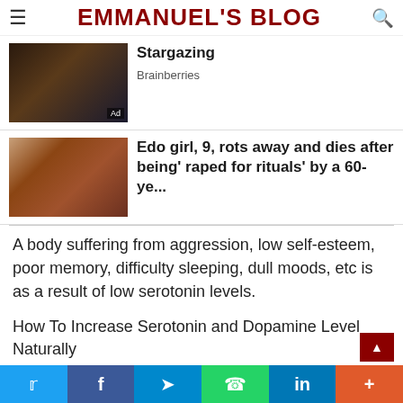EMMANUEL'S BLOG
[Figure (photo): Dark romantic/scenic photo thumbnail with Ad badge]
Stargazing
Brainberries
[Figure (photo): Two skin-toned medical/injury photo thumbnails side by side]
Edo girl, 9, rots away and dies after being' raped for rituals' by a 60-ye...
A body suffering from aggression, low self-esteem, poor memory, difficulty sleeping, dull moods, etc is as a result of low serotonin levels.
How To Increase Serotonin and Dopamine Level Naturally